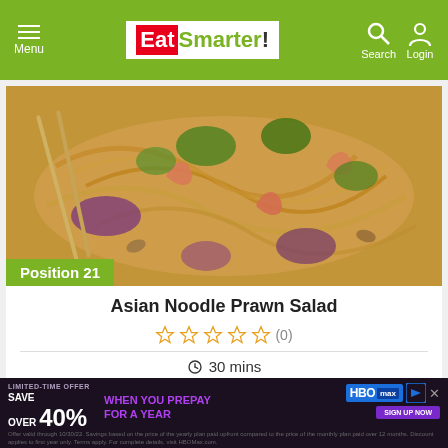EatSmarter! — Menu | Search | Login
[Figure (photo): Asian noodle prawn salad dish with shrimp, noodles, red cabbage, cilantro, and almonds on a plate with chopsticks. Badge reading 'Position 21' in green at bottom left.]
Asian Noodle Prawn Salad
☆ ☆ ☆ ☆ ☆ (0)
⊙ 30 mins
[Figure (photo): Partial view of a second recipe with green leafy food, heart/save icon visible in top right.]
[Figure (infographic): HBO Max advertisement banner: LIMITED-TIME OFFER — SAVE OVER 40% WHEN YOU PREPAY FOR A YEAR. Fine print about offer validity.]